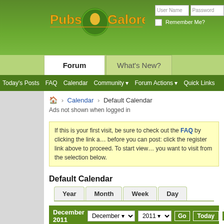[Figure (screenshot): Pubs Galore website header with logo and login fields]
Forum | What's New? | Today's Posts | FAQ | Calendar | Community | Forum Actions | Quick Links
Calendar > Default Calendar
Ads not shown when logged in
If this is your first visit, be sure to check out the FAQ by clicking the link above. You may have to register before you can post: click the register link above to proceed. To start viewing messages, select the forum that you want to visit from the selection below.
Default Calendar
Year | Month | Week | Day
December 2011  December ▼  2011 ▼  Go  Today  ←
Sunday  Monday  Tuesday  Wednesday  Thursday  Fri